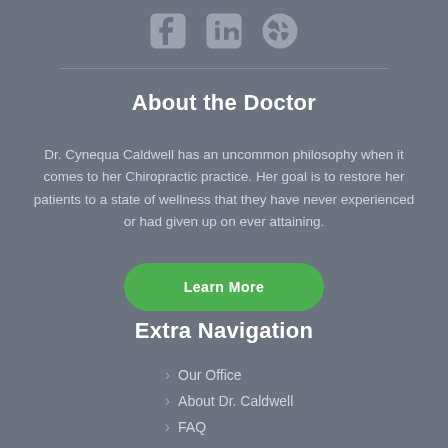[Figure (illustration): Social media icons: Facebook, LinkedIn, and Yelp in gray]
About the Doctor
Dr. Cynequa Caldwell has an uncommon philosophy when it comes to her Chiropractic practice. Her goal is to restore her patients to a state of wellness that they have never experienced or had given up on ever attaining.
Learn More
Extra Navigation
Our Office
About Dr. Caldwell
FAQ